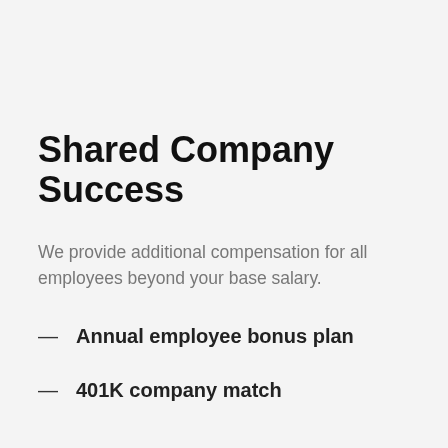Shared Company Success
We provide additional compensation for all employees beyond your base salary.
Annual employee bonus plan
401K company match